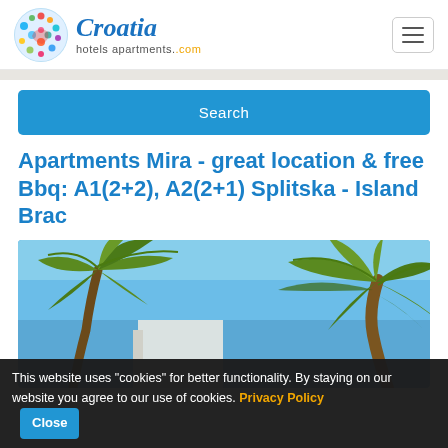Croatia hotels apartments.com
Search
Apartments Mira - great location & free Bbq: A1(2+2), A2(2+1) Splitska - Island Brac
[Figure (photo): Photograph looking up at a palm tree with a building and blue sky in the background]
This website uses "cookies" for better functionality. By staying on our website you agree to our use of cookies. Privacy Policy Close